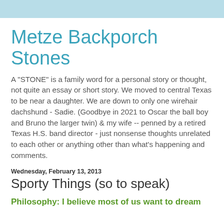Metze Backporch Stones
A "STONE" is a family word for a personal story or thought, not quite an essay or short story. We moved to central Texas to be near a daughter. We are down to only one wirehair dachshund - Sadie. (Goodbye in 2021 to Oscar the ball boy and Bruno the larger twin) & my wife -- penned by a retired Texas H.S. band director - just nonsense thoughts unrelated to each other or anything other than what's happening and comments.
Wednesday, February 13, 2013
Sporty Things (so to speak)
Philosophy:  I believe most of us want to dream